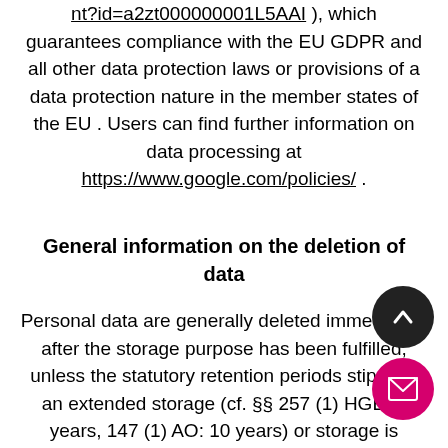nt?id=a2zt000000001L5AAI ), which guarantees compliance with the EU GDPR and all other data protection laws or provisions of a data protection nature in the member states of the EU . Users can find further information on data processing at https://www.google.com/policies/ .
General information on the deletion of data
Personal data are generally deleted immediately after the storage purpose has been fulfilled, unless the statutory retention periods stipulate an extended storage (cf. §§ 257 (1) HGB: 6 years, 147 (1) AO: 10 years) or storage is necessary for evidence purposes. Proper deletion is checked on an